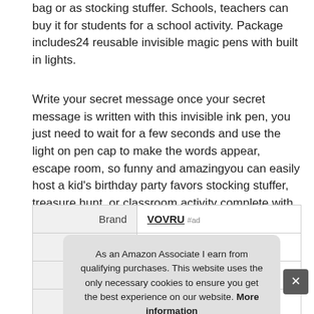bag or as stocking stuffer. Schools, teachers can buy it for students for a school activity. Package includes 24 reusable invisible magic pens with built in lights.
Write your secret message once your secret message is written with this invisible ink pen, you just need to wait for a few seconds and use the light on pen cap to make the words appear, escape room, so funny and amazing you can easily host a kid's birthday party favors stocking stuffer, treasure hunt, or classroom activity complete with invisible ink clues!.
|  |  |
| --- | --- |
| Brand | VOVRU #ad |
| Manufacturer | VOVRU-PEN24 #ad |
As an Amazon Associate I earn from qualifying purchases. This website uses the only necessary cookies to ensure you get the best experience on our website. More information